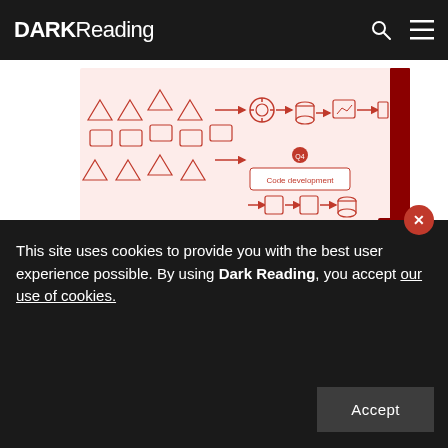DARK Reading
[Figure (schematic): Network/pipeline diagram with icons representing servers, databases, monitoring tools, and code development flow, rendered in red and pink on white background with dark red border]
93% of Tested Networks Vulnerable to Breach, Pen Testers Find
Data from dozens of penetration tests and security assessments suggest nearly every organization can be
This site uses cookies to provide you with the best user experience possible. By using Dark Reading, you accept our use of cookies.